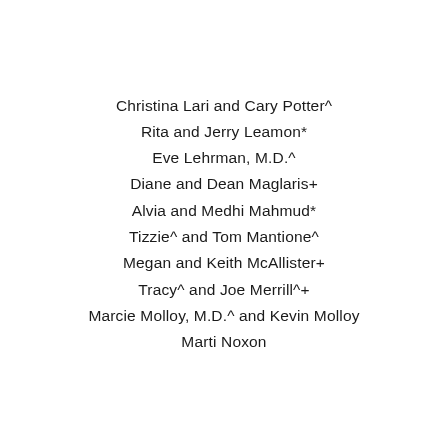Christina Lari and Cary Potter^
Rita and Jerry Leamon*
Eve Lehrman, M.D.^
Diane and Dean Maglaris+
Alvia and Medhi Mahmud*
Tizzie^ and Tom Mantione^
Megan and Keith McAllister+
Tracy^ and Joe Merrill^+
Marcie Molloy, M.D.^ and Kevin Molloy
Marti Noxon